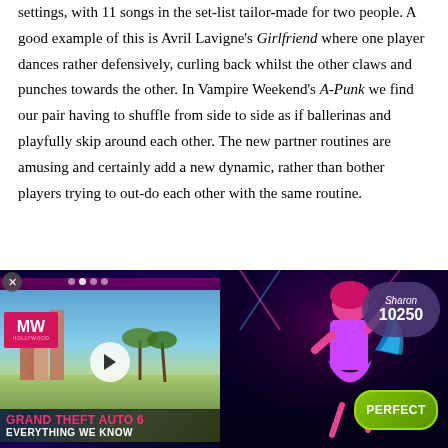settings, with 11 songs in the set-list tailor-made for two people. A good example of this is Avril Lavigne's Girlfriend where one player dances rather defensively, curling back whilst the other claws and punches towards the other. In Vampire Weekend's A-Punk we find our pair having to shuffle from side to side as if ballerinas and playfully skip around each other. The new partner routines are amusing and certainly add a new dynamic, rather than bother players trying to out-do each other with the same routine.
[Figure (screenshot): Advertisement/video embed showing two panels: left panel is a video thumbnail for 'Grand Theft Auto 6 - Everything We Know' with MW Hollywood logo and a play button over a city scene; right panel shows a Just Dance game screenshot with a dancer character, score display showing 'Sharon 10250', and a 'PERFECT' badge. Dot navigation indicators at top.]